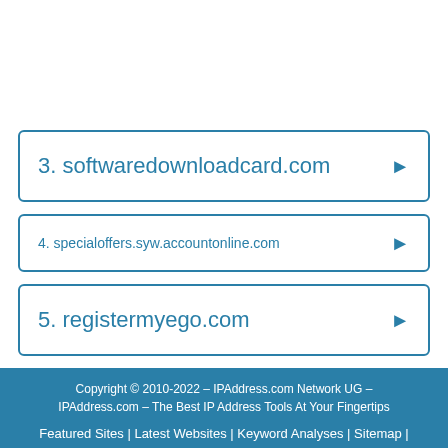3. softwaredownloadcard.com
4. specialoffers.syw.accountonline.com
5. registermyego.com
Copyright © 2010-2022 - IPAddress.com Network UG - IPAddress.com - The Best IP Address Tools At Your Fingertips
Featured Sites | Latest Websites | Keyword Analyses | Sitemap |